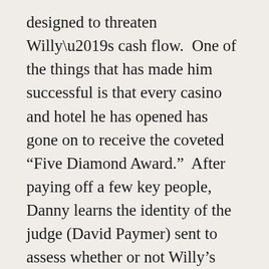designed to threaten Willy’s cash flow.  One of the things that has made him successful is that every casino and hotel he has opened has gone on to receive the coveted “Five Diamond Award.”  After paying off a few key people, Danny learns the identity of the judge (David Paymer) sent to assess whether or not Willy’s establishment is worthy of the prestigious prize.  This poor soul is given a rough reception, forced to occupy a room he had not booked, subjected to foul stenches, given all sorts of gross substances that cause him to break out in hives and rashes, and is generally maltreated wherever he goes in the resort.  However, their biggest problem is how to get everyone out the front door with all their earnings instead of reinvesting it in the